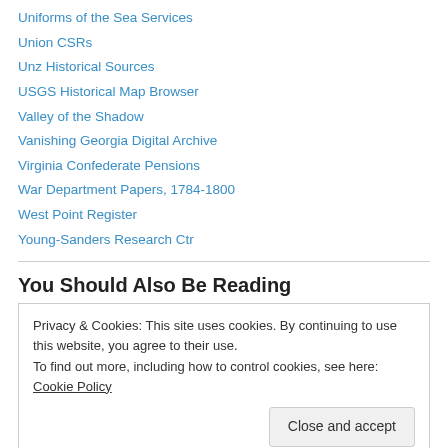Uniforms of the Sea Services
Union CSRs
Unz Historical Sources
USGS Historical Map Browser
Valley of the Shadow
Vanishing Georgia Digital Archive
Virginia Confederate Pensions
War Department Papers, 1784-1800
West Point Register
Young-Sanders Research Ctr
You Should Also Be Reading
Privacy & Cookies: This site uses cookies. By continuing to use this website, you agree to their use.
To find out more, including how to control cookies, see here: Cookie Policy
Close and accept
CG Textures